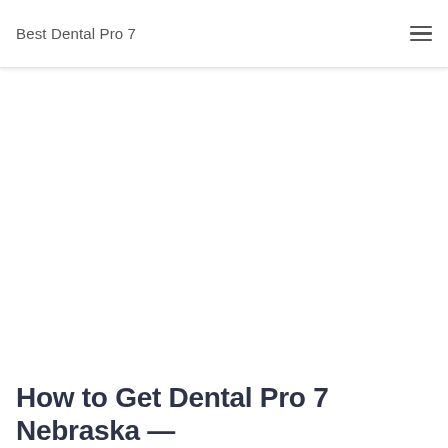Best Dental Pro 7
How to Get Dental Pro 7 Nebraska —